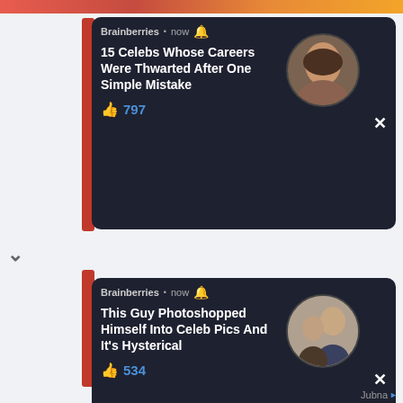[Figure (screenshot): Brainberries notification card 1: '15 Celebs Whose Careers Were Thwarted After One Simple Mistake' with 797 likes and a woman's circular photo]
[Figure (screenshot): Brainberries notification card 2: 'This Guy Photoshopped Himself Into Celeb Pics And It's Hysterical' with 534 likes and a man's circular photo]
[Figure (photo): Sponsored ad photo: couple outdoors with sunglasses (Obama-related ad)]
[Pics] At 61, Obama Moves To This Modest House With Partner, Look Inside!
BuzzAura | Sponsored
[Figure (photo): Sponsored ad photo: beach tent and colorful products (Amazon ad)]
Are These The 24 Coolest Home Products Available On Amazon?
CNN Underscored | Sponsored
Jubna